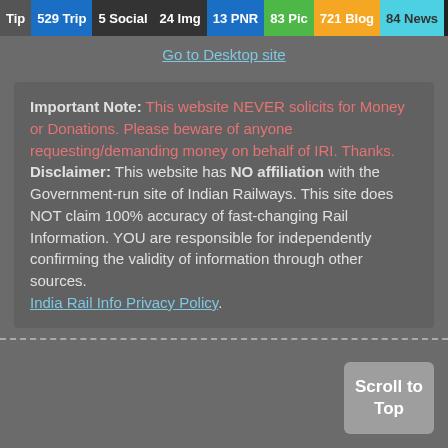Tip | 529 Trip | 5 Social | 24 Img | 13 PNR | 83 Pic | 721 Blog | 84 News | 10 Topic
Go to Desktop site
Important Note: This website NEVER solicits for Money or Donations. Please beware of anyone requesting/demanding money on behalf of IRI. Thanks. Disclaimer: This website has NO affiliation with the Government-run site of Indian Railways. This site does NOT claim 100% accuracy of fast-changing Rail Information. YOU are responsible for independently confirming the validity of information through other sources.
India Rail Info Privacy Policy.
Scroll to Top